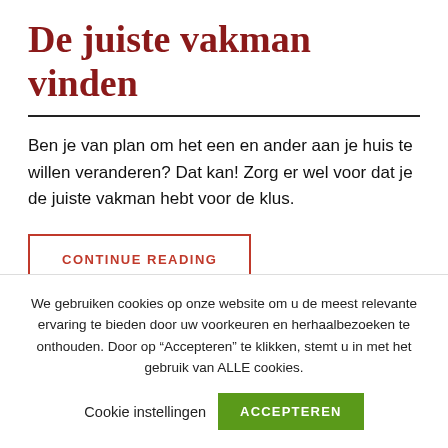De juiste vakman vinden
Ben je van plan om het een en ander aan je huis te willen veranderen? Dat kan! Zorg er wel voor dat je de juiste vakman hebt voor de klus.
CONTINUE READING
We gebruiken cookies op onze website om u de meest relevante ervaring te bieden door uw voorkeuren en herhaalbezoeken te onthouden. Door op “Accepteren” te klikken, stemt u in met het gebruik van ALLE cookies.
Cookie instellingen   ACCEPTEREN